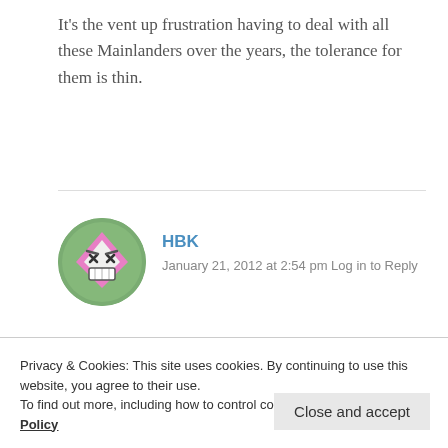It's the vent up frustration having to deal with all these Mainlanders over the years, the tolerance for them is thin.
[Figure (illustration): Green circular avatar image with a cartoon angry pink diamond-shaped character with crossed eyes and showing teeth]
HBK
January 21, 2012 at 2:54 pm Log in to Reply
Less than 5% of tourist will disobey the law is the tourist come from western nations like USA, UK,
Privacy & Cookies: This site uses cookies. By continuing to use this website, you agree to their use.
To find out more, including how to control cookies, see here: Cookie Policy
Close and accept
very loudly. When mainlanders are wrong kindly do